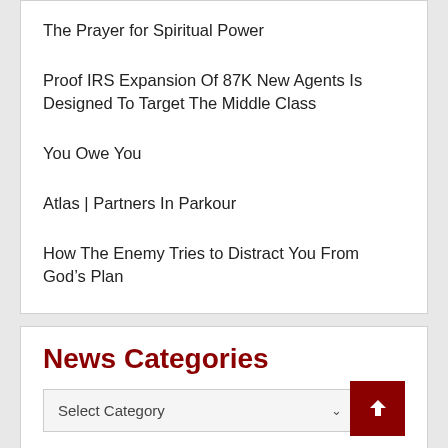The Prayer for Spiritual Power
Proof IRS Expansion Of 87K New Agents Is Designed To Target The Middle Class
You Owe You
Atlas | Partners In Parkour
How The Enemy Tries to Distract You From God’s Plan
News Categories
Select Category